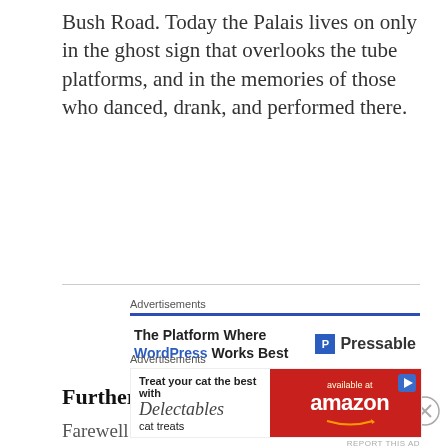Bush Road. Today the Palais lives on only in the ghost sign that overlooks the tube platforms, and in the memories of those who danced, drank, and performed there.
[Figure (screenshot): Advertisement for Pressable WordPress hosting with blue bar and text 'The Platform Where WordPress Works Best' and Pressable logo]
Further reading:
Farewell and RIP to the Hammersmith Palais – Ghost Signs, 11th May 2012
[Figure (screenshot): Advertisement for Delectables cat treats available at Amazon, with cat image and red/white background]